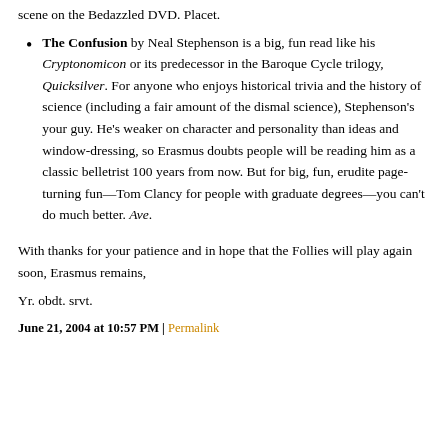scene on the Bedazzled DVD. Placet.
The Confusion by Neal Stephenson is a big, fun read like his Cryptonomicon or its predecessor in the Baroque Cycle trilogy, Quicksilver. For anyone who enjoys historical trivia and the history of science (including a fair amount of the dismal science), Stephenson's your guy. He's weaker on character and personality than ideas and window-dressing, so Erasmus doubts people will be reading him as a classic belletrist 100 years from now. But for big, fun, erudite page-turning fun—Tom Clancy for people with graduate degrees—you can't do much better. Ave.
With thanks for your patience and in hope that the Follies will play again soon, Erasmus remains,
Yr. obdt. srvt.
June 21, 2004 at 10:57 PM | Permalink